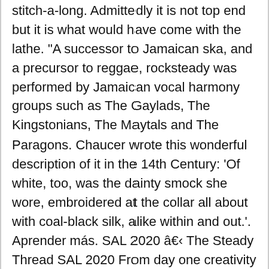stitch-a-long. Admittedly it is not top end but it is what would have come with the lathe. "A successor to Jamaican ska, and a precursor to reggae, rocksteady was performed by Jamaican vocal harmony groups such as The Gaylads, The Kingstonians, The Maytals and The Paragons. Chaucer wrote this wonderful description of it in the 14th Century: 'Of white, too, was the dainty smock she wore, embroidered at the collar all about with coal-black silk, alike within and out.'. Aprender más. SAL 2020 â The Steady Thread SAL 2020 From day one creativity was positively encouraged in this free stitch-a-long. Blackwork embroidery free stitch-a-long. You will need to separate the thread into individual strands for stitching your design. Eventually, after realising that of course I am not alone in my love for blackwork, I worked to chart up some designs in an organised fashion and so The Steady Thread came to be. From day one creativity was positively encouraged in this free stitch-a-long. The Steady Thread Blackwork SAL. Rock Steady was a genre of music popular in Jamaica in the late 60s. listen above their steady jaws - English Only forum mild but steady order - which is the kind that wears best - English Only forum on a steady